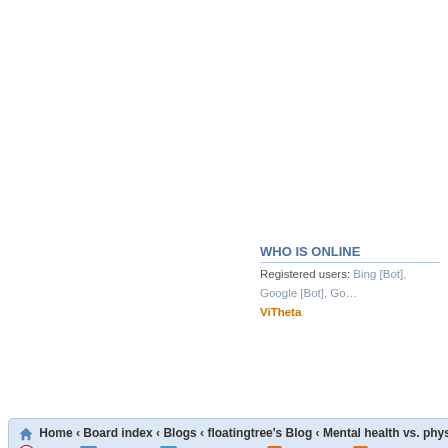WHO IS ONLINE
Registered users: Bing [Bot], Google [Bot], Go… ViTheta
Home ‹ Board index ‹ Blogs ‹ floatingtree's Blog ‹ Mental health vs. physical h
News  Site map  SitemapIndex  RSS Feed  Channel list
Disclaimer • Forum Rule
Powered by phpBB Time : 0.07…